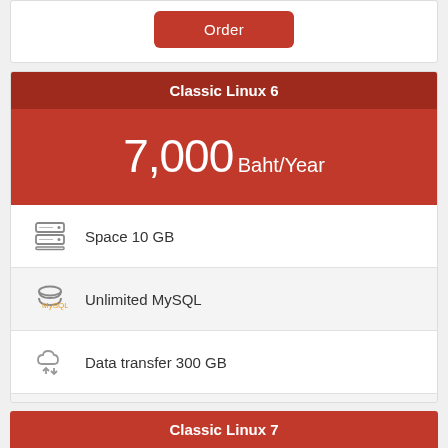[Figure (other): Order button for previous plan (top partial card)]
Classic Linux 6
7,000 Baht/Year
Space 10 GB
Unlimited MySQL
Data transfer 300 GB
Limited 1 Websites
[Figure (other): Order button for Classic Linux 6]
Classic Linux 7